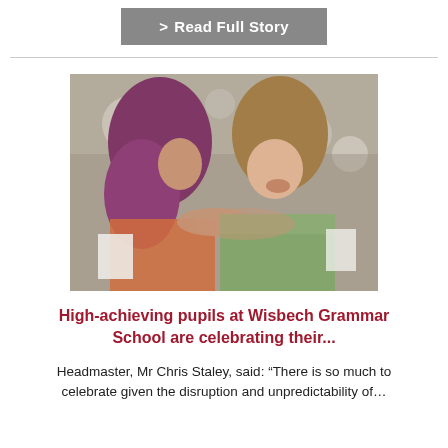> Read Full Story
[Figure (photo): Two students hugging and celebrating, one with purple/pink hair and one with brown hair wearing a tropical print shirt and green checkered top, holding papers, likely exam results day.]
High-achieving pupils at Wisbech Grammar School are celebrating their...
Headmaster, Mr Chris Staley, said: “There is so much to celebrate given the disruption and unpredictability of...